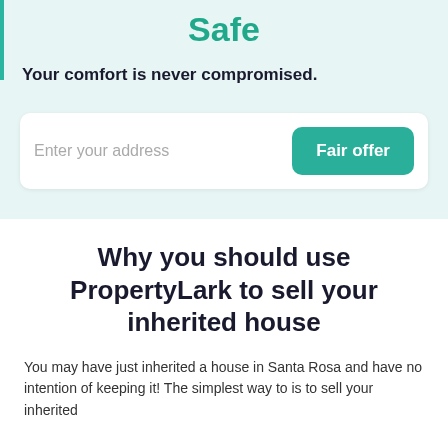Safe
Your comfort is never compromised.
Enter your address
Fair offer
Why you should use PropertyLark to sell your inherited house
You may have just inherited a house in Santa Rosa and have no intention of keeping it! The simplest way to is to sell your inherited...